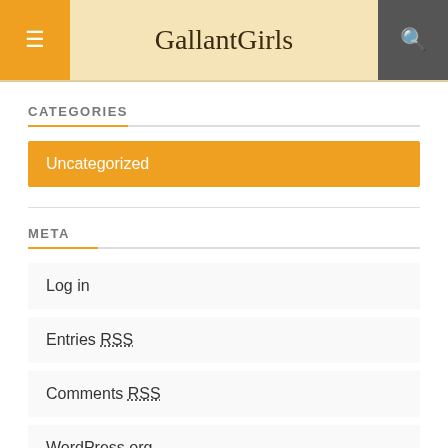GallantGirls
CATEGORIES
Uncategorized
META
Log in
Entries RSS
Comments RSS
WordPress.org